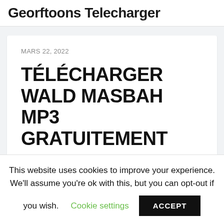Georftoons Telecharger
MARS 22, 2022
TÉLÉCHARGER WALD MASBAH MP3 GRATUITEMENT
This website uses cookies to improve your experience. We'll assume you're ok with this, but you can opt-out if you wish. Cookie settings ACCEPT